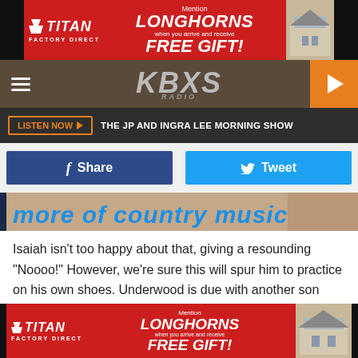[Figure (photo): Titan Factory Direct advertisement banner - red background with white text: Mention LONGHORNS when you arrive and receive FREE GIFT!]
[Figure (screenshot): Website navigation bar with hamburger menu, KBXS radio station logo, and orange play button]
LISTEN NOW ▶   THE JP AND INGRA LEE MORNING SHOW
[Figure (screenshot): Social sharing buttons: blue Facebook Share button and light blue Twitter Tweet button]
[Figure (photo): Partial image showing text related to country music]
Isaiah isn't too happy about that, giving a resounding "Noooo!" However, we're sure this will spur him to practice on his own shoes. Underwood is due with another son very soon—she has not shared an official due date, but it's expected (and looking as if) he'll be arriving in the next few
[Figure (photo): Titan Factory Direct advertisement banner - red background with LONGHORNS FREE GIFT promotion]